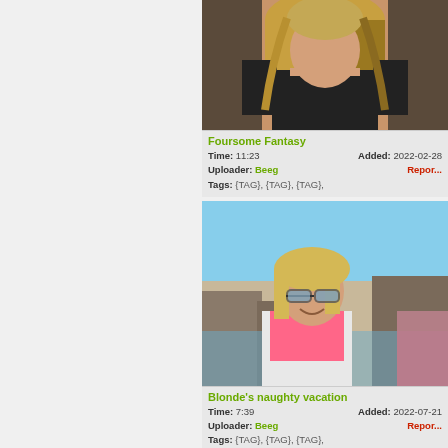[Figure (photo): Thumbnail of a woman with blonde hair in dark top for video titled Foursome Fantasy]
Foursome Fantasy
Time: 11:23   Added: 2022-02-28
Uploader: Beeg   Report
Tags: {TAG}, {TAG}, {TAG},
[Figure (photo): Thumbnail of a blonde woman with sunglasses outdoors for video titled Blonde's naughty vacation]
Blonde's naughty vacation
Time: 7:39   Added: 2022-07-21
Uploader: Beeg   Report
Tags: {TAG}, {TAG}, {TAG},